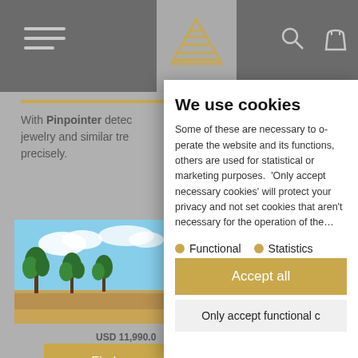[Figure (screenshot): Website background showing a metal detection / jewelry product page with navigation bar, hamburger menu, pyramid logo, search and bag icons, product image with trees/desert landscape, price text 'USD 11,990.0', and gold 'Find your' button]
We use cookies
Some of these are necessary to operate the website and its functions, others are used for statistical or marketing purposes. 'Only accept necessary cookies' will protect your privacy and not set cookies that aren't necessary for the operation of the
Functional
Statistics
Accept all
Only accept functional c